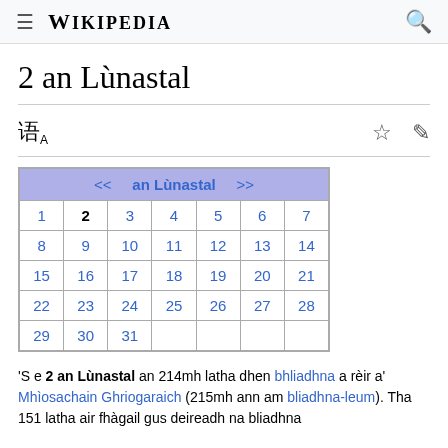≡ WIKIPEDIA 🔍
2 an Lùnastal
| << an Lùnastal >> |
| --- |
| 1 | 2 | 3 | 4 | 5 | 6 | 7 |
| 8 | 9 | 10 | 11 | 12 | 13 | 14 |
| 15 | 16 | 17 | 18 | 19 | 20 | 21 |
| 22 | 23 | 24 | 25 | 26 | 27 | 28 |
| 29 | 30 | 31 |  |  |  |  |
'S e 2 an Lùnastal an 214mh latha dhen bhliadhna a rèir a' Mhìosachain Ghriogaraich (215mh ann am bliadhna-leum). Tha 151 latha air fhàgail gus deireadh na bliadhna